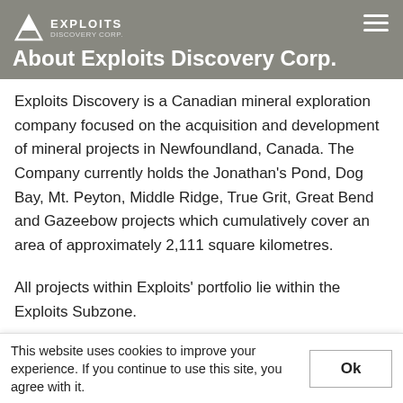About Exploits Discovery Corp.
Exploits Discovery is a Canadian mineral exploration company focused on the acquisition and development of mineral projects in Newfoundland, Canada. The Company currently holds the Jonathan's Pond, Dog Bay, Mt. Peyton, Middle Ridge, True Grit, Great Bend and Gazeebow projects which cumulatively cover an area of approximately 2,111 square kilometres.
All projects within Exploits' portfolio lie within the Exploits Subzone.
Exploits believes that the Exploits Subzone, which…
This website uses cookies to improve your experience. If you continue to use this site, you agree with it.